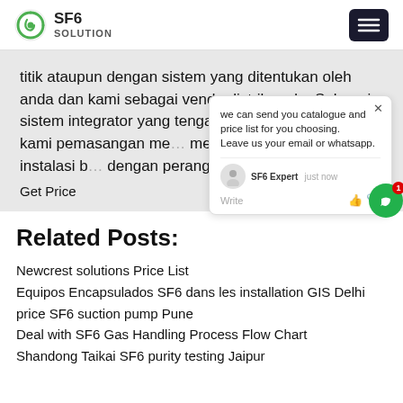SF6 SOLUTION
titik ataupun dengan sistem yang ditentukan oleh anda dan kami sebagai vendor listrik anda, Sebagai sistem integrator yang tengah maju dan berkembang, kami pemasangan me... melayani anda untuk jasa instalasi b... dengan perangkatnya, dimana anta...
Get Price
Related Posts:
Newcrest solutions Price List
Equipos Encapsulados SF6 dans les installation GIS Delhi
price SF6 suction pump Pune
Deal with SF6 Gas Handling Process Flow Chart
Shandong Taikai SF6 purity testing Jaipur